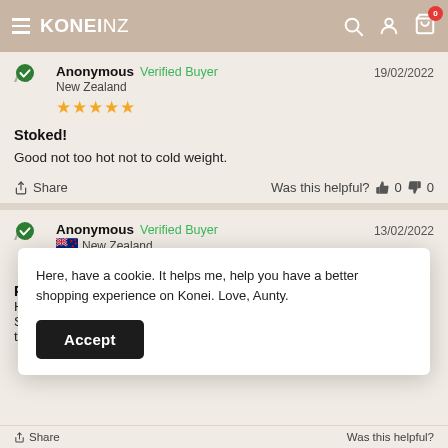KONEI NZ — navigation header with search, account, and cart icons
Anonymous   Verified Buyer   19/02/2022
New Zealand
★★★★★
Stoked!
Good not too hot not to cold weight.
Share   Was this helpful?  👍 0  👎 0
Anonymous   Verified Buyer   13/02/2022
🇳🇿 New Zealand
★★★★★
Here, have a cookie. It helps me, help you have a better shopping experience on Konei. Love, Aunty.
Accept